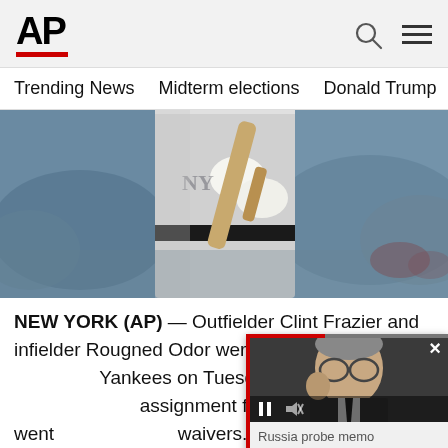[Figure (logo): AP (Associated Press) logo with red bar underline]
Trending News   Midterm elections   Donald Trump   Russia-Ukr
[Figure (photo): Baseball player in New York Yankees uniform holding a bat, cropped to torso, crowd in background]
NEW YORK (AP) — Outfielder Clint Frazier and infielder Rougned Odor were released by the New York Yankees on Tuesday after they were designated for assignment four days ago and went unclaimed on waivers.
[Figure (screenshot): Floating video overlay showing a man with glasses (labeled Russia probe memo), with playback controls and a close button]
The 27-year-old Frazier was the fifth pick in the 2013 amateur draft by Cleveland and...